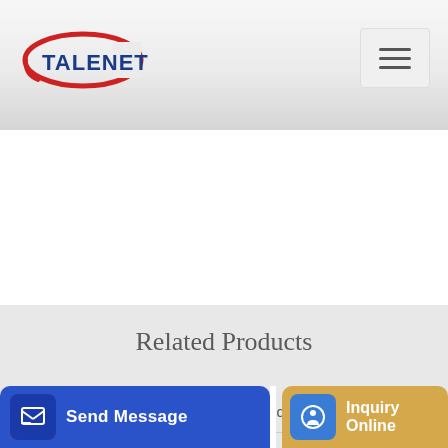[Figure (logo): Talenet logo with red ellipse and blue text]
Related Products
asphalt plant auction dubai
GM Concrete Pumping 0402 691 208 Caloundra
Send Message
Inquiry Online